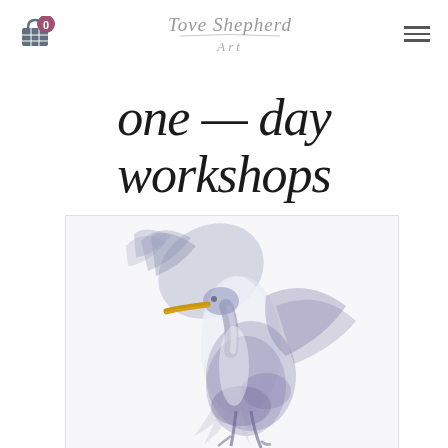Tove Shepherd Art — cart: 0, navigation menu
one day workshops
[Figure (illustration): Watercolour painting of a great egret (heron) in flight, rendered in loose washes of blue, purple, grey and white with a golden beak, on white watercolour paper background.]